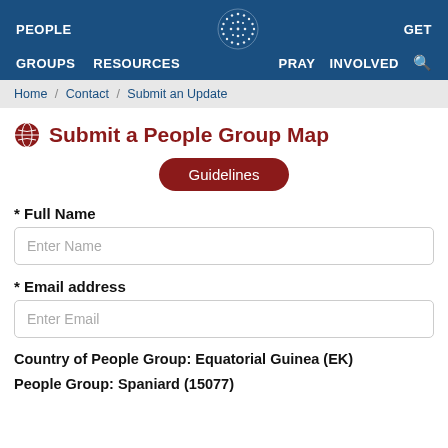PEOPLE  GROUPS  RESOURCES  GET  PRAY  INVOLVED
Home / Contact / Submit an Update
Submit a People Group Map
Guidelines
* Full Name
Enter Name
* Email address
Enter Email
Country of People Group:  Equatorial Guinea (EK)
People Group:  Spaniard (15077)